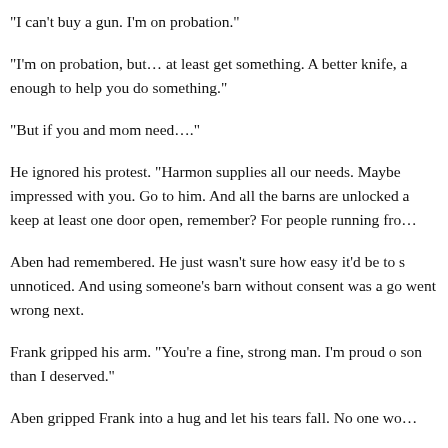“I can’t buy a gun. I’m on probation.”
“I’m on probation, but… at least get something. A better knife, a enough to help you do something.”
“But if you and mom need….”
He ignored his protest. “Harmon supplies all our needs. Maybe impressed with you. Go to him. And all the barns are unlocked a keep at least one door open, remember? For people running fro…
Aben had remembered. He just wasn’t sure how easy it’d be to s unnoticed. And using someone’s barn without consent was a go went wrong next.
Frank gripped his arm. “You’re a fine, strong man. I’m proud o son than I deserved.”
Aben gripped Frank into a hug and let his tears fall. No one wo…